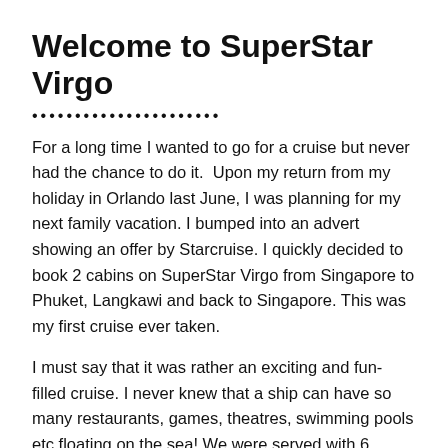Welcome to SuperStar Virgo
••••••••••••••••••••••
For a long time I wanted to go for a cruise but never had the chance to do it.  Upon my return from my holiday in Orlando last June, I was planning for my next family vacation. I bumped into an advert showing an offer by Starcruise. I quickly decided to book 2 cabins on SuperStar Virgo from Singapore to Phuket, Langkawi and back to Singapore. This was my first cruise ever taken.
I must say that it was rather an exciting and fun-filled cruise. I never knew that a ship can have so many restaurants, games, theatres, swimming pools etc floating on the sea! We were served with 6 meals per day with limited options to eat. Other than that we were kept from